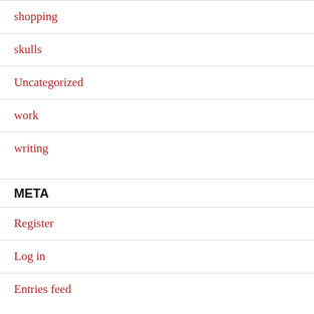shopping
skulls
Uncategorized
work
writing
META
Register
Log in
Entries feed